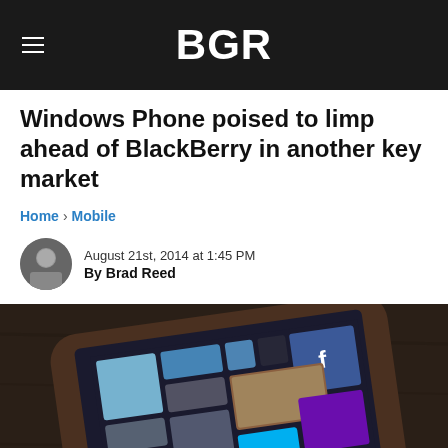BGR
Windows Phone poised to limp ahead of BlackBerry in another key market
Home › Mobile
August 21st, 2014 at 1:45 PM
By Brad Reed
[Figure (photo): HTC Windows Phone device lying on a dark wooden surface, showing Windows Phone tile interface with colorful app tiles including Facebook, Skype, NFL, and other apps]